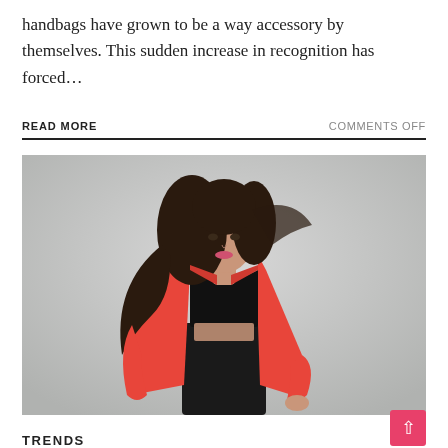handbags have grown to be a way accessory by themselves. This sudden increase in recognition has forced…
READ MORE
COMMENTS OFF
[Figure (photo): Fashion photo of a young woman with long dark wavy hair, wearing a bright red/coral blazer over a black crop top and black mini skirt, posing against a light grey background.]
TRENDS